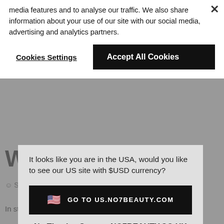media features and to analyse our traffic. We also share information about your use of our site with our social media, advertising and analytics partners.
Cookies Settings
Accept All Cookies
Welcome
It looks like you are in the USA, would you like to see our US site with $USD currency?
GO TO US.NO7BEAUTY.COM
No Thanks, Stay on NO7BEAUTY.CO.UK
Save to Wishlist
In stock - Usually dispatched within 24 hours